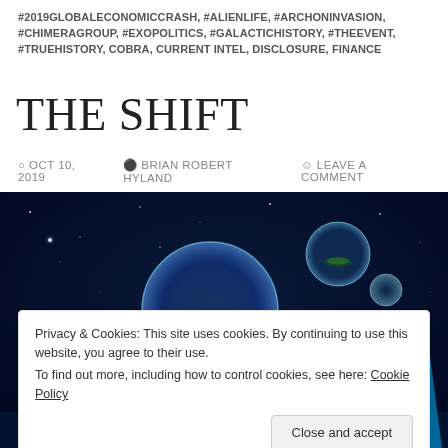#2019GLOBALECONOMICCRASH, #ALIENLIFE, #ARCHONINVASION, #CHIMERAGROUP, #EXOPOLITICS, #GALACTICHISTORY, #THEEVENT, #TRUEHISTORY, COBRA, CURRENT INTEL, DISCLOSURE, FINANCE
THE SHIFT
OCT 10, 2019  BRIAN ROBERT HYLAND  LEAVE A COMMENT
[Figure (illustration): Digital fantasy illustration: glowing blue crystal formations and floating islands under a dark starry sky, with large translucent bubble-like spheres containing green land masses floating in space.]
Privacy & Cookies: This site uses cookies. By continuing to use this website, you agree to their use. To find out more, including how to control cookies, see here: Cookie Policy